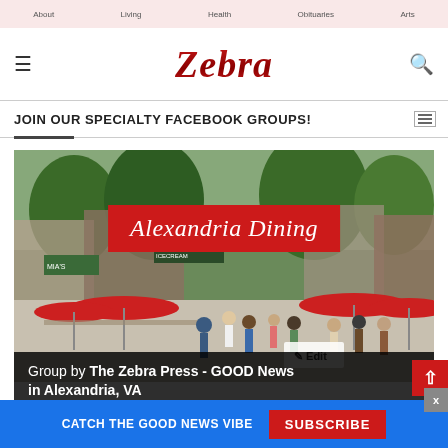Navigation bar with menu items
[Figure (logo): Zebra Press logo in red italic serif font with hamburger menu icon on left and search icon on right]
JOIN OUR SPECIALTY FACEBOOK GROUPS!
[Figure (photo): Alexandria Dining Facebook group cover photo showing a busy outdoor pedestrian street with restaurants, red umbrellas, and people walking. Red banner overlay reads 'Alexandria Dining'. Edit button in bottom right corner.]
Group by The Zebra Press - GOOD News in Alexandria, VA
CATCH THE GOOD NEWS VIBE  SUBSCRIBE